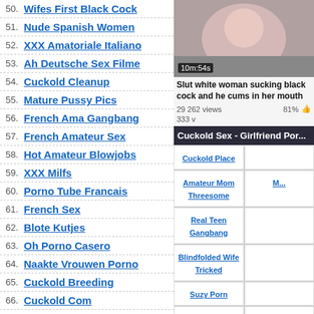50. Wifes First Black Cock
51. Nude Spanish Women
52. XXX Amatoriale Italiano
53. Ah Deutsche Sex Filme
54. Cuckold Cleanup
55. Mature Pussy Pics
56. French Ama Gangbang
57. French Amateur Sex
58. Hot Amateur Blowjobs
59. XXX Milfs
60. Porno Tube Francais
61. French Sex
62. Blote Kutjes
63. Oh Porno Casero
64. Naakte Vrouwen Porno
65. Cuckold Breeding
66. Cuckold Com
67. Italian Girls Fucking
[Figure (screenshot): Video thumbnail showing a woman's face, duration 10m:54s]
Slut white woman sucking black cock and he cums in her mouth
29 262 views   81%
333 v...
Cuckold Sex - Girlfriend Por...
Cuckold Place
Amateur Mom Threesome
Real Teen Gangbang
Blindfolded Wife Tricked
Suzy Porn
French Girlfriend Porn